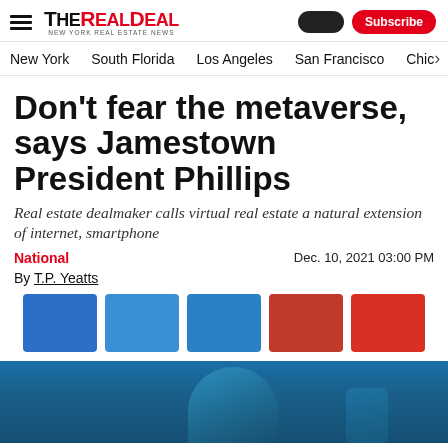The Real Deal — New York Real Estate News
New York  South Florida  Los Angeles  San Francisco  Chic
Don't fear the metaverse, says Jamestown President Phillips
Real estate dealmaker calls virtual real estate a natural extension of internet, smartphone
National   Dec. 10, 2021 03:00 PM
By T.P. Yeatts
[Figure (other): Social sharing buttons: Facebook, Twitter, LinkedIn, Email, and another red share button]
[Figure (photo): Photo of a person against a blue gradient background, partially visible at the bottom of the page]